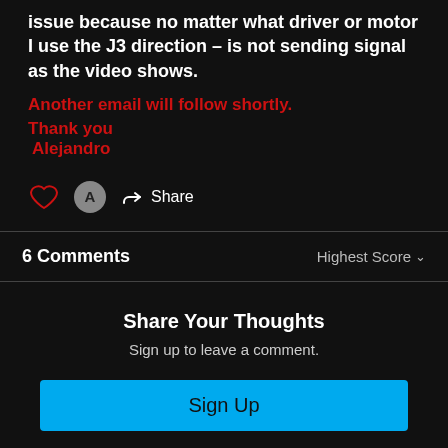issue because no matter what driver or motor I use the J3 direction – is not sending signal as the video shows.
Another email will follow shortly.
Thank you
 Alejandro
[Figure (other): Heart icon, avatar circle with letter A, share arrow icon with Share label]
6 Comments
Highest Score ∨
Share Your Thoughts
Sign up to leave a comment.
Sign Up